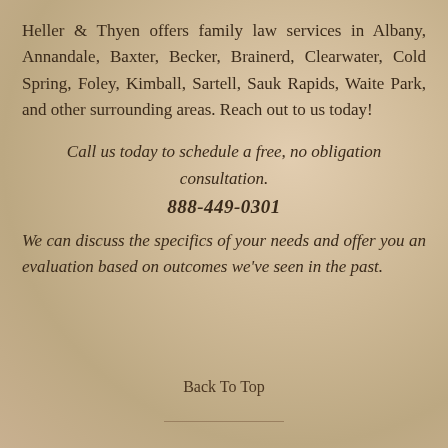Heller & Thyen offers family law services in Albany, Annandale, Baxter, Becker, Brainerd, Clearwater, Cold Spring, Foley, Kimball, Sartell, Sauk Rapids, Waite Park, and other surrounding areas. Reach out to us today!
Call us today to schedule a free, no obligation consultation.
888-449-0301
We can discuss the specifics of your needs and offer you an evaluation based on outcomes we've seen in the past.
Back To Top